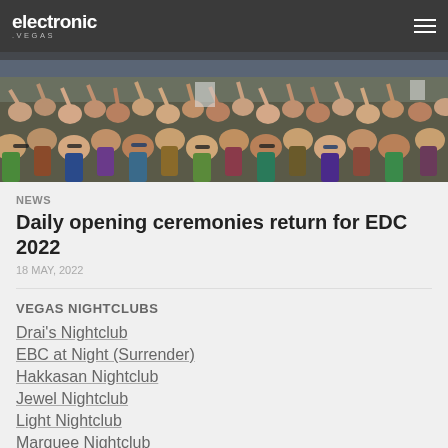electronic.vegas
[Figure (photo): Large crowd at an outdoor music festival, people cheering with hands raised, colorful attire, taken from stage level looking out at the crowd.]
NEWS
Daily opening ceremonies return for EDC 2022
18 MAY, 2022
VEGAS NIGHTCLUBS
Drai's Nightclub
EBC at Night (Surrender)
Hakkasan Nightclub
Jewel Nightclub
Light Nightclub
Marquee Nightclub
Omnia Nightclub